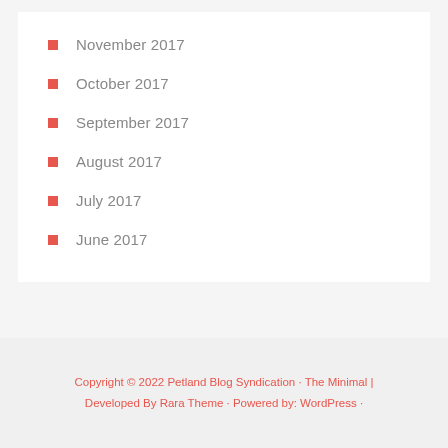November 2017
October 2017
September 2017
August 2017
July 2017
June 2017
Copyright © 2022 Petland Blog Syndication · The Minimal | Developed By Rara Theme · Powered by: WordPress ·